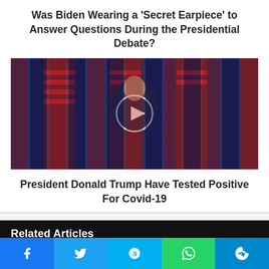Was Biden Wearing a 'Secret Earpiece' to Answer Questions During the Presidential Debate?
[Figure (photo): Video thumbnail showing a person in a suit speaking at a podium in front of several American flags, with a white circular play button overlay in the center.]
President Donald Trump Have Tested Positive For Covid-19
Related Articles